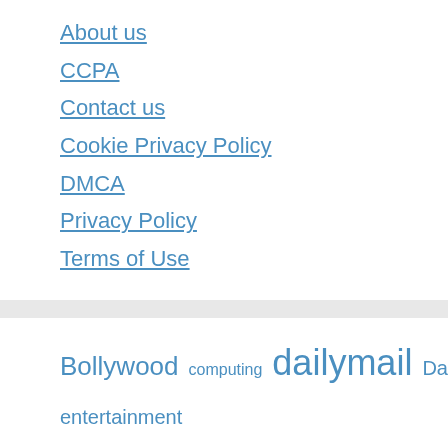About us
CCPA
Contact us
Cookie Privacy Policy
DMCA
Privacy Policy
Terms of Use
Bollywood computing dailymail Day entertainment news fans Fashion film gadgets game Games heres internet Kapoor Khan Kotaku latest League live Love music news open